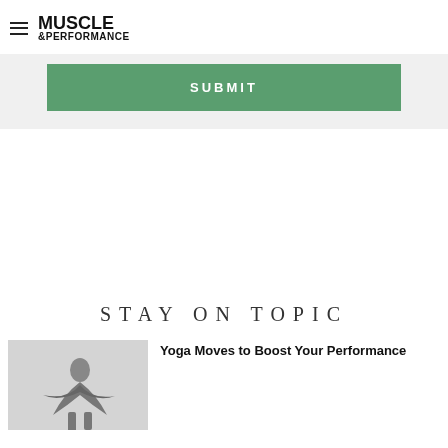MUSCLE &PERFORMANCE
SUBMIT
STAY ON TOPIC
[Figure (photo): Thumbnail photo of a person in a yoga pose]
Yoga Moves to Boost Your Performance